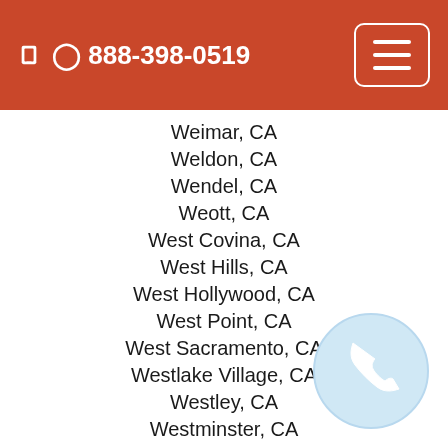888-398-0519
Weimar, CA
Weldon, CA
Wendel, CA
Weott, CA
West Covina, CA
West Hills, CA
West Hollywood, CA
West Point, CA
West Sacramento, CA
Westlake Village, CA
Westley, CA
Westminster, CA
Westmorland, CA
Westport, CA
Westwood, CA
Wheatland, CA
Whiskeytown, CA
White Water, CA
[Figure (illustration): Blue phone handset icon inside a light blue circle, bottom right corner]